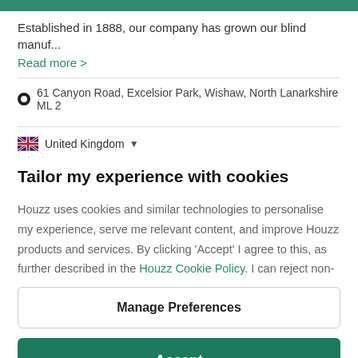Established in 1888, our company has grown our blind manuf...
Read more >
61 Canyon Road, Excelsior Park, Wishaw, North Lanarkshire ML 2
United Kingdom
Tailor my experience with cookies
Houzz uses cookies and similar technologies to personalise my experience, serve me relevant content, and improve Houzz products and services. By clicking 'Accept' I agree to this, as further described in the Houzz Cookie Policy. I can reject non-
Manage Preferences
Accept